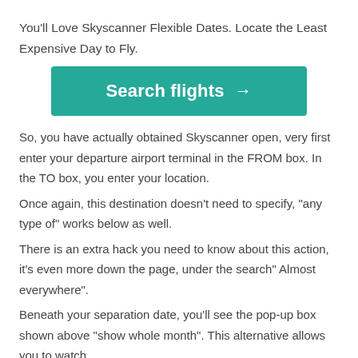You'll Love Skyscanner Flexible Dates. Locate the Least Expensive Day to Fly.
[Figure (other): Teal/green button with white bold text reading 'Search flights →']
So, you have actually obtained Skyscanner open, very first enter your departure airport terminal in the FROM box. In the TO box, you enter your location.
Once again, this destination doesn't need to specify, "any type of" works below as well.
There is an extra hack you need to know about this action, it's even more down the page, under the search" Almost everywhere".
Beneath your separation date, you'll see the pop-up box shown above "show whole month". This alternative allows you to watch